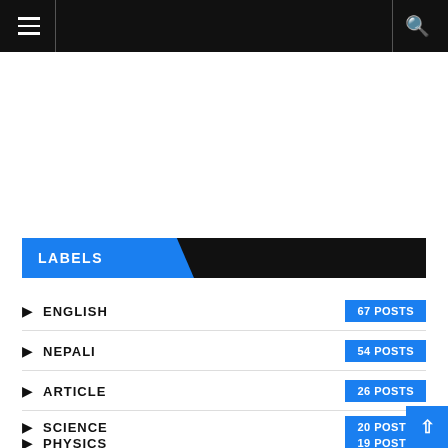Navigation bar with hamburger menu and search icon
LABELS
ENGLISH  67 POSTS
NEPALI  54 POSTS
ARTICLE  26 POSTS
SCIENCE  20 POSTS
PHYSICS  19 POSTS